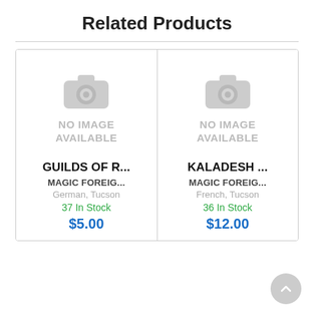Related Products
[Figure (illustration): No image available placeholder with camera icon for product: GUILDS OF R...]
GUILDS OF R...
MAGIC FOREIG...
German, Tucson
37 In Stock
$5.00
[Figure (illustration): No image available placeholder with camera icon for product: KALADESH ...]
KALADESH ...
MAGIC FOREIG...
French, Tucson
36 In Stock
$12.00